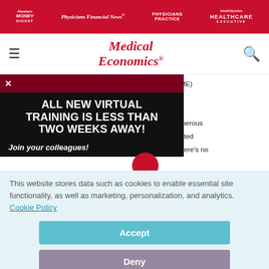Physician's Money Digest | Physicians Financial News | Physicians Practice | Healthcare Executive
[Figure (logo): Medical Economics logo with hamburger menu and search icon]
[Figure (infographic): Advertisement overlay: 'ALL NEW VIRTUAL TRAINING IS LESS THAN TWO WEEKS AWAY! Join your colleagues!' with red and black background and close X button]
...uation (CME) ...d to initial increased onerous y overregulated octor, and there's no
This website stores data such as cookies to enable essential site functionality, as well as marketing, personalization, and analytics. Cookie Policy
Accept
Deny